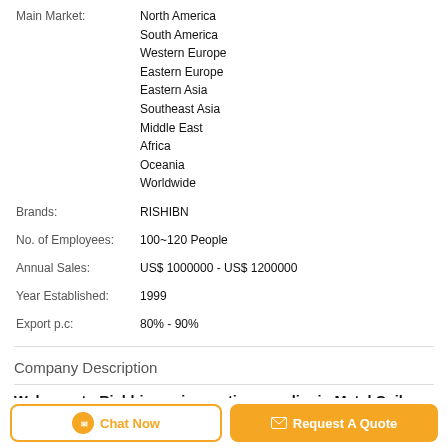| Field | Value |
| --- | --- |
| Main Market: | North America
South America
Western Europe
Eastern Europe
Eastern Asia
Southeast Asia
Middle East
Africa
Oceania
Worldwide |
| Brands: | RISHIBN |
| No. of Employees: | 100~120 People |
| Annual Sales: | US$ 1000000 - US$ 1200000 |
| Year Established: | 1999 |
| Export p.c: | 80% - 90% |
Company Description
Welcome to Rishbin, an innovative supplier in Metal Coil Processing Machinery market.
Rishbin was founded in 1999. With almost twenty years
Chat Now | Request A Quote